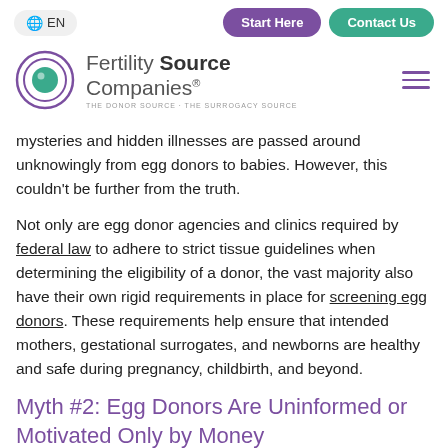🌐 EN | Start Here | Contact Us
[Figure (logo): Fertility Source Companies logo — circular eye icon with teal pupil and purple iris, beside text 'Fertility Source Companies' with tagline 'THE DONOR SOURCE · THE SURROGACY SOURCE']
mysteries and hidden illnesses are passed around unknowingly from egg donors to babies. However, this couldn't be further from the truth.
Not only are egg donor agencies and clinics required by federal law to adhere to strict tissue guidelines when determining the eligibility of a donor, the vast majority also have their own rigid requirements in place for screening egg donors. These requirements help ensure that intended mothers, gestational surrogates, and newborns are healthy and safe during pregnancy, childbirth, and beyond.
Myth #2: Egg Donors Are Uninformed or Motivated Only by Money